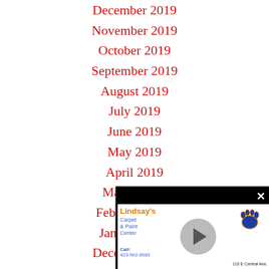December 2019
November 2019
October 2019
September 2019
August 2019
July 2019
June 2019
May 2019
April 2019
March 2019
February 2019
January 2019
Dece…
Nove…
Oct…
Sept…
Au…
J…
[Figure (screenshot): Video ad popup overlay for Lindsay's Carpet & Paint Center with play button, paw print logo, phone number, and address '110 E Central Ave.']